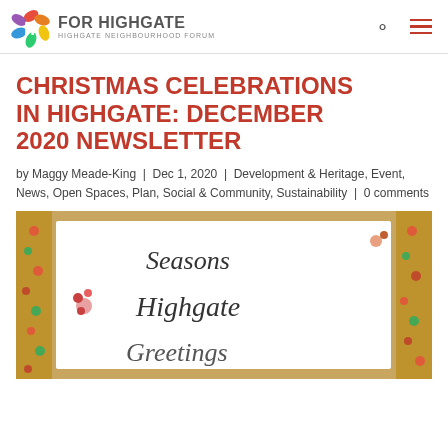[Figure (logo): For Highgate – Highgate Neighbourhood Forum logo with colourful letter h icon]
CHRISTMAS CELEBRATIONS IN HIGHGATE: DECEMBER 2020 NEWSLETTER
by Maggy Meade-King | Dec 1, 2020 | Development & Heritage, Event, News, Open Spaces, Plan, Social & Community, Sustainability | 0 comments
[Figure (photo): A decorated card or sign reading 'Seasons Highgate Greetings' with tinsel border and floral decoration]